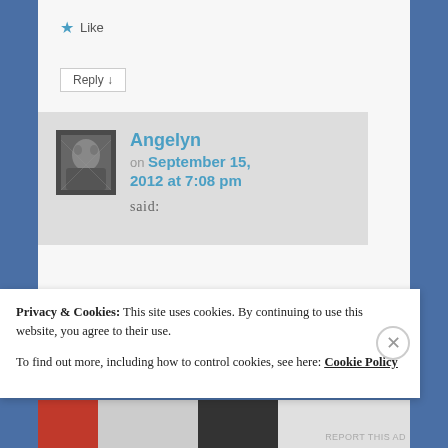★ Like
Reply ↓
Angelyn on September 15, 2012 at 7:08 pm said:
Privacy & Cookies: This site uses cookies. By continuing to use this website, you agree to their use. To find out more, including how to control cookies, see here: Cookie Policy
Close and accept